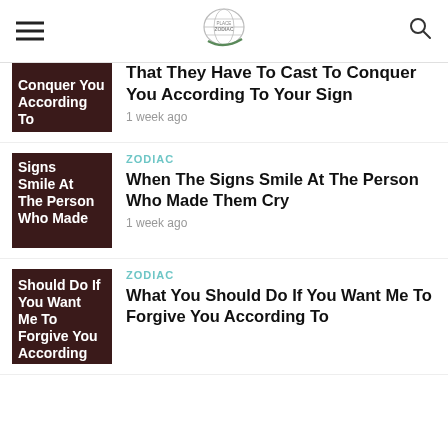Navigation header with hamburger menu, globe logo, and search icon
[Figure (illustration): Thumbnail image with dark brown background and white bold text reading 'Conquer You According To']
That They Have To Cast To Conquer You According To Your Sign
1 week ago
[Figure (illustration): Thumbnail image with dark brown background and white bold text reading 'Signs Smile At The Person Who Made']
ZODIAC
When The Signs Smile At The Person Who Made Them Cry
1 week ago
[Figure (illustration): Thumbnail image with dark brown background and white bold text reading 'Should Do If You Want Me To Forgive You According']
ZODIAC
What You Should Do If You Want Me To Forgive You According To